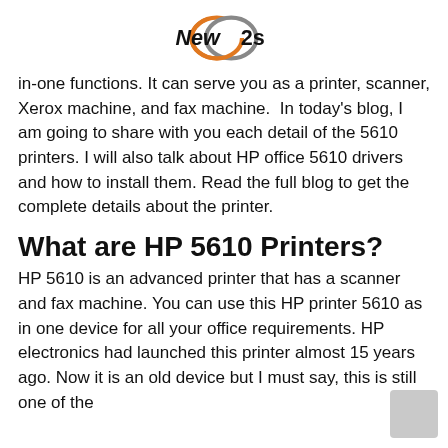New2s logo
in-one functions. It can serve you as a printer, scanner, Xerox machine, and fax machine. In today's blog, I am going to share with you each detail of the 5610 printers. I will also talk about HP office 5610 drivers and how to install them. Read the full blog to get the complete details about the printer.
What are HP 5610 Printers?
HP 5610 is an advanced printer that has a scanner and fax machine. You can use this HP printer 5610 as in one device for all your office requirements. HP electronics had launched this printer almost 15 years ago. Now it is an old device but I must say, this is still one of the